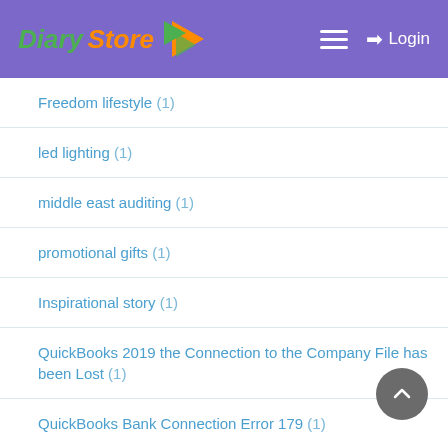Diary Store — Login
Freedom lifestyle (1)
led lighting (1)
middle east auditing (1)
promotional gifts (1)
Inspirational story (1)
QuickBooks 2019 the Connection to the Company File has been Lost (1)
QuickBooks Bank Connection Error 179 (1)
Error Code PS058 in QuickBooks (1)
csgo accounts (1)
stall designer (1)
QuickBooks is Unable to Send Emails Invoices to Outlook (1)